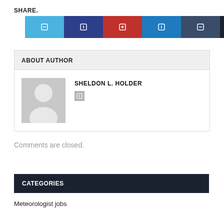SHARE.
[Figure (other): Social share buttons: Twitter (light blue), Facebook (dark blue), Pinterest (red), LinkedIn (blue), Tumblr (dark slate), More (near black), each with a white icon]
ABOUT AUTHOR
[Figure (photo): Generic placeholder avatar silhouette on gray background]
SHELDON L. HOLDER
[Figure (other): Single social media icon (gray square) for author]
Comments are closed.
CATEGORIES
Meteorologist jobs